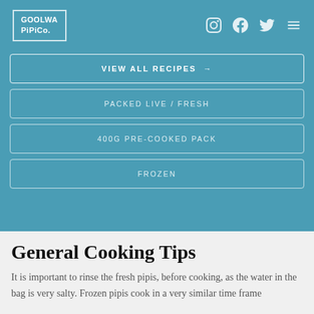GOOLWA PiPiCo.
VIEW ALL RECIPES →
PACKED LIVE / FRESH
400G PRE-COOKED PACK
FROZEN
General Cooking Tips
It is important to rinse the fresh pipis, before cooking, as the water in the bag is very salty. Frozen pipis cook in a very similar time frame